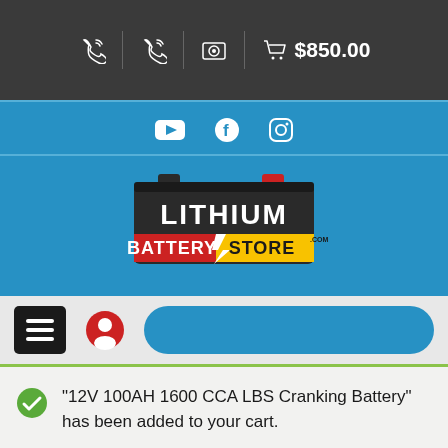$850.00
[Figure (logo): Lithium Battery Store logo with battery graphic]
“12V 100AH 1600 CCA LBS Cranking Battery” has been added to your cart.